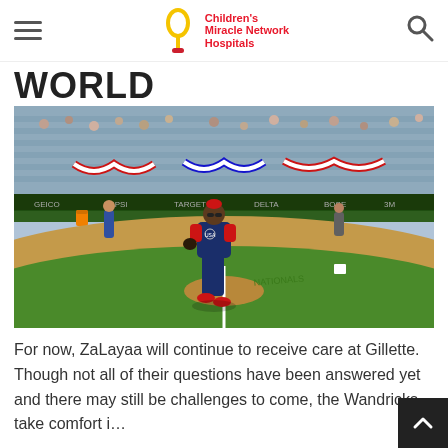Children's Miracle Network Hospitals
WORLD
[Figure (photo): A young girl in a navy and red baseball uniform with red sneakers and sunglasses walking on a baseball field infield dirt. Stadium stands filled with fans visible in the background with patriotic red, white, and blue bunting decorations.]
For now, ZaLayaa will continue to receive care at Gillette. Though not all of their questions have been answered yet and there may still be challenges to come, the Wandricks take comfort i…